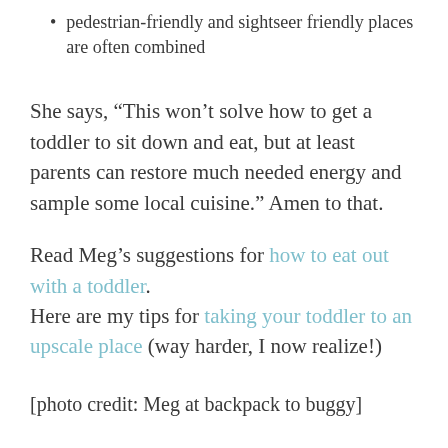pedestrian-friendly and sightseer friendly places are often combined
She says, “This won’t solve how to get a toddler to sit down and eat, but at least parents can restore much needed energy and sample some local cuisine.” Amen to that.
Read Meg’s suggestions for how to eat out with a toddler.
Here are my tips for taking your toddler to an upscale place (way harder, I now realize!)
[photo credit: Meg at backpack to buggy]